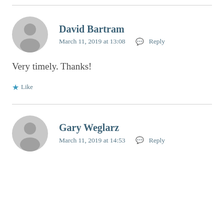David Bartram
March 11, 2019 at 13:08  Reply
Very timely. Thanks!
Like
Gary Weglarz
March 11, 2019 at 14:53  Reply